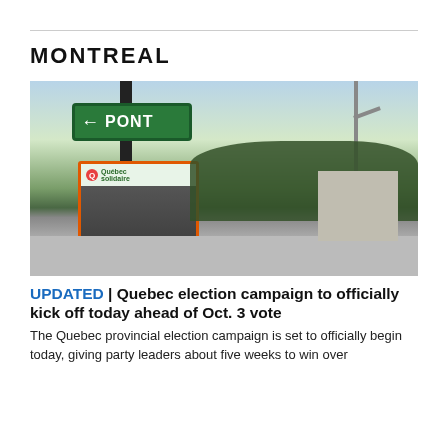MONTREAL
[Figure (photo): Street corner photo showing a green 'PONT' directional sign with a left arrow on a pole, and a Québec solidaire campaign election poster featuring MANON MASSÉ and GABRIEL NADEAU-DUBOIS attached to the pole. Background shows trees, a road, and an industrial building at dusk.]
UPDATED | Quebec election campaign to officially kick off today ahead of Oct. 3 vote
The Quebec provincial election campaign is set to officially begin today, giving party leaders about five weeks to win over